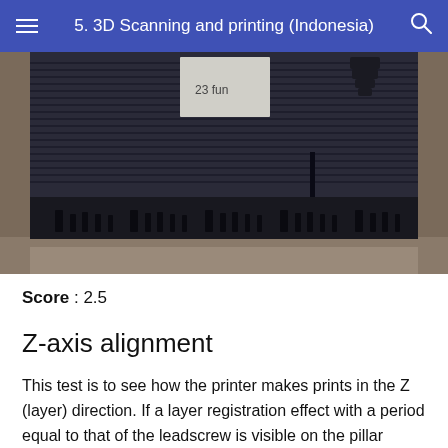5. 3D Scanning and printing (Indonesia)
[Figure (photo): Close-up photograph of a 3D printed object showing the side profile of a flat bar with tooth-like protrusions along the bottom edge, placed on a wooden surface. Some additional 3D printed objects are visible in the background.]
Score : 2.5
Z-axis alignment
This test is to see how the printer makes prints in the Z (layer) direction. If a layer registration effect with a period equal to that of the leadscrew is visible on the pillar supporting the fine positive features test, record "0."